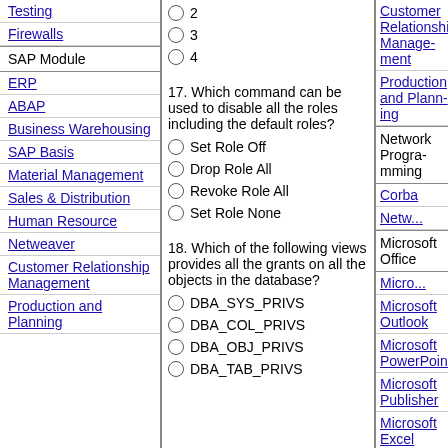Testing
Firewalls
SAP Module
ERP
ABAP
Business Warehousing
SAP Basis
Material Management
Sales & Distribution
Human Resource
Netweaver
Customer Relationship Management
Production and Planning
2
3
4
17. Which command can be used to disable all the roles including the default roles?
Set Role Off
Drop Role All
Revoke Role All
Set Role None
18. Which of the following views provides all the grants on all the objects in the database?
DBA_SYS_PRIVS
DBA_COL_PRIVS
DBA_OBJ_PRIVS
DBA_TAB_PRIVS
Customer Relationship Management (right col)
Production and Planning (right col)
Network Programming
Corba
Netw...
Microsoft Office
Micro...
Microsoft Outlook
Microsoft PowerPoint
Microsoft Publisher
Microsoft Excel
Micro...